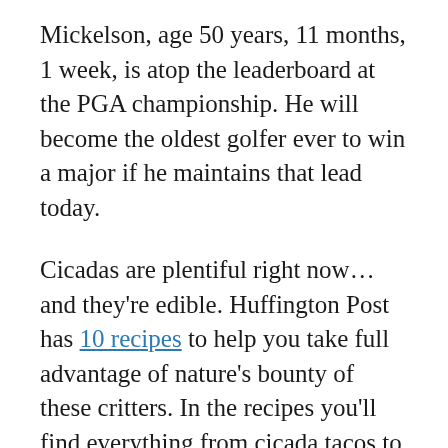Mickelson, age 50 years, 11 months, 1 week, is atop the leaderboard at the PGA championship. He will become the oldest golfer ever to win a major if he maintains that lead today.
Cicadas are plentiful right now… and they're edible. Huffington Post has 10 recipes to help you take full advantage of nature's bounty of these critters. In the recipes you'll find everything from cicada tacos to cicada chip cookies. Free food? Wonder if the Nuh-Uh Girl will show up.
The Grizzlies will host a Watch Party tonight at Fourth Bluff Park, 1 N. Front near the law school. Activities begin at 7 PM with game tip-